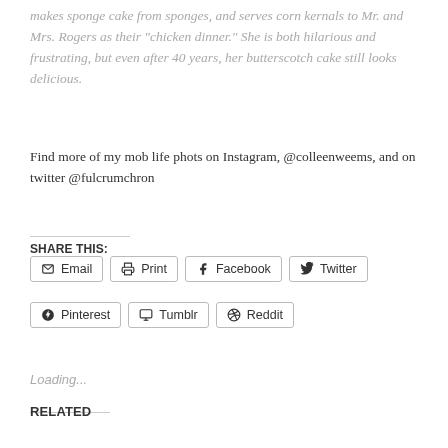makes sponge cake from sponges, and serves corn kernals to Mr. and Mrs. Rogers as their "chicken dinner." She is both hilarious and frustrating, but even after 40 years, her butterscotch cake still looks delicious.
Find more of my mob life phots on Instagram, @colleenweems, and on twitter @fulcrumchron
SHARE THIS:
[Figure (other): Share buttons row 1: Email, Print, Facebook, Twitter]
[Figure (other): Share buttons row 2: Pinterest, Tumblr, Reddit]
Loading...
RELATED
(related links in red)